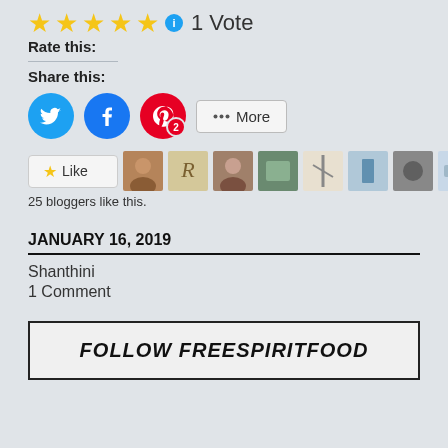[Figure (other): Five gold stars rating with info icon and '1 Vote' text]
Rate this:
Share this:
[Figure (other): Social share buttons: Twitter, Facebook, Pinterest (2), and More]
[Figure (other): Like button with star and 10 blogger avatar thumbnails]
25 bloggers like this.
JANUARY 16, 2019
Shanthini
1 Comment
FOLLOW FREESPIRITFOOD